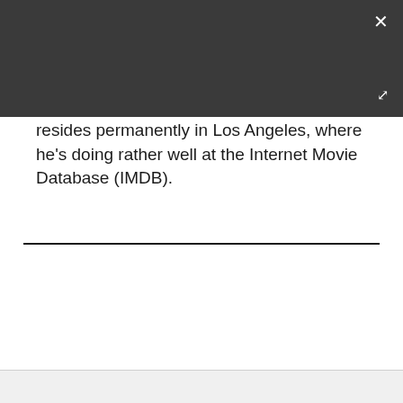[Figure (screenshot): Dark grey header bar of a web/app modal overlay, with a white × close button in the top-right corner and a white expand/resize icon in the lower-right of the header.]
resides permanently in Los Angeles, where he's doing rather well at the Internet Movie Database (IMDB).